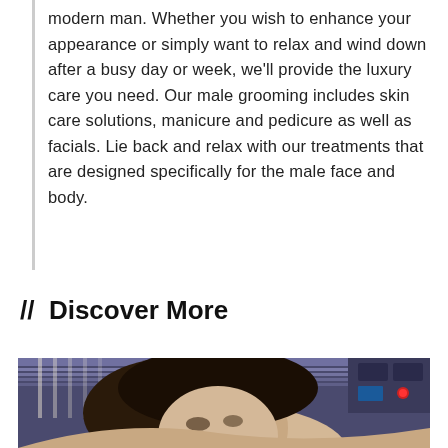modern man. Whether you wish to enhance your appearance or simply want to relax and wind down after a busy day or week, we'll provide the luxury care you need. Our male grooming includes skin care solutions, manicure and pedicure as well as facials. Lie back and relax with our treatments that are designed specifically for the male face and body.
// Discover More
[Figure (photo): A woman with dark hair smiling, lying in a tanning bed with blue/purple lights visible overhead and equipment controls in background]